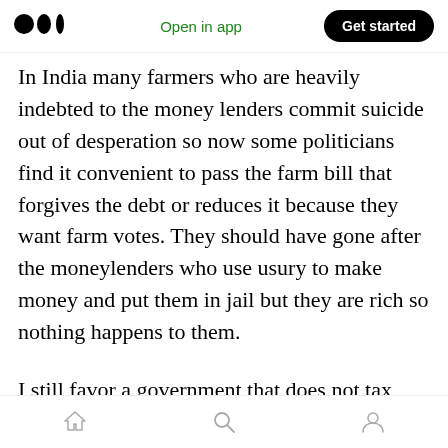Medium logo | Open in app | Get started
In India many farmers who are heavily indebted to the money lenders commit suicide out of desperation so now some politicians find it convenient to pass the farm bill that forgives the debt or reduces it because they want farm votes. They should have gone after the moneylenders who use usury to make money and put them in jail but they are rich so nothing happens to them.
I still favor a government that does not tax poor farmers and makes farm loans available to them. This is the approach the Government of India has taken which brings a great relief to farmers who
Home | Search | Profile